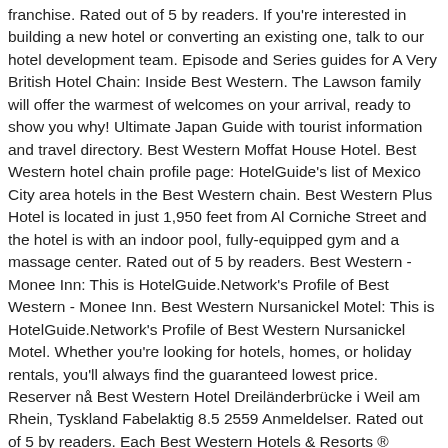franchise. Rated out of 5 by readers. If you're interested in building a new hotel or converting an existing one, talk to our hotel development team. Episode and Series guides for A Very British Hotel Chain: Inside Best Western. The Lawson family will offer the warmest of welcomes on your arrival, ready to show you why! Ultimate Japan Guide with tourist information and travel directory. Best Western Moffat House Hotel. Best Western hotel chain profile page: HotelGuide's list of Mexico City area hotels in the Best Western chain. Best Western Plus Hotel is located in just 1,950 feet from Al Corniche Street and the hotel is with an indoor pool, fully-equipped gym and a massage center. Rated out of 5 by readers. Best Western - Monee Inn: This is HotelGuide.Network's Profile of Best Western - Monee Inn. Best Western Nursanickel Motel: This is HotelGuide.Network's Profile of Best Western Nursanickel Motel. Whether you're looking for hotels, homes, or holiday rentals, you'll always find the guaranteed lowest price. Reserver nå Best Western Hotel Dreiländerbrücke i Weil am Rhein, Tyskland Fabelaktig 8.5 2559 Anmeldelser. Rated out of 5 by readers. Each Best Western Hotels & Resorts ® branded hotel is independently owned and operated. You Can Read and Write Reviews About the Property or Contact the Hotel Directly via Phone. BEST WESTERN Leicester Stage Hotel with its conference facilities offers every modern amenity whilst maintaining traditional values of service and quality. Looking for Best Western Hotel Los Beaux Arts? Best Western Hotel Braunschweig. Braunschweig.